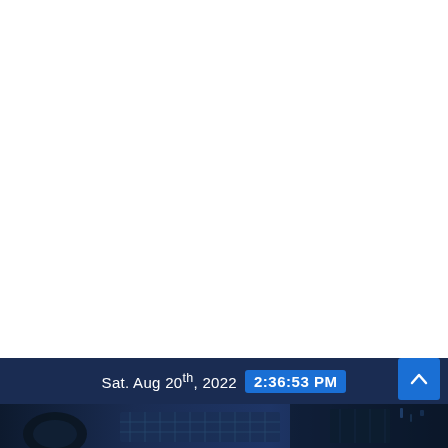[Figure (screenshot): White blank area — top portion of a webpage with no visible content]
Sat. Aug 20th, 2022  2:36:53 PM
[Figure (photo): Bottom strip showing a dark blue-toned photo of office/technology equipment including what appears to be keyboards and screens]